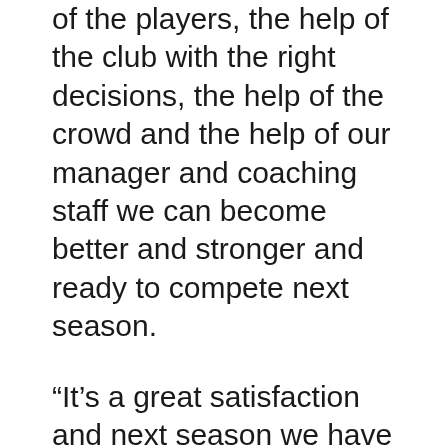of the players, the help of the club with the right decisions, the help of the crowd and the help of our manager and coaching staff we can become better and stronger and ready to compete next season.
“It’s a great satisfaction and next season we have to come stronger with more ambition and ready to compete for everything.”